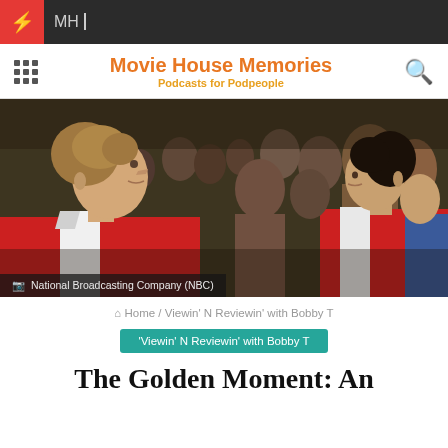MH_
Movie House Memories — Podcasts for Podpeople
[Figure (photo): Two women in profile view sitting in an audience, with people behind them. The woman on the left wears a red-and-white outfit. A caption at the bottom reads: National Broadcasting Company (NBC).]
Home / Viewin' N Reviewin' with Bobby T
'Viewin' N Reviewin' with Bobby T
The Golden Moment: An